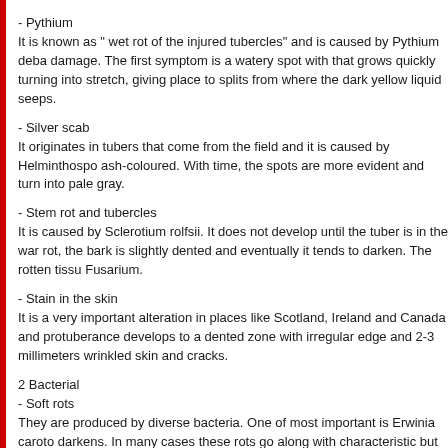- Pythium
It is known as " wet rot of the injured tubercles" and is caused by Pythium deba damage. The first symptom is a watery spot with that grows quickly turning into stretch, giving place to splits from where the dark yellow liquid seeps.
- Silver scab
It originates in tubers that come from the field and it is caused by Helminthospo ash-coloured. With time, the spots are more evident and turn into pale gray.
- Stem rot and tubercles
It is caused by Sclerotium rolfsii. It does not develop until the tuber is in the war rot, the bark is slightly dented and eventually it tends to darken. The rotten tissu Fusarium.
- Stain in the skin
It is a very important alteration in places like Scotland, Ireland and Canada and protuberance develops to a dented zone with irregular edge and 2-3 millimeters wrinkled skin and cracks.
2 Bacterial
- Soft rots
They are produced by diverse bacteria. One of most important is Erwinia caroto darkens. In many cases these rots go along with characteristic but not unpleasa
- Annular rot
It is caused by Clavibacter michiganense. This bacterium attacks in the field, ar characterized by a slight transparency in the tissues that surround the vascular separating from the adjacent tissues. Unless the tuber is cut, the disease is not protuberances that split a viscous liquid when they are pressed.
3 Insects